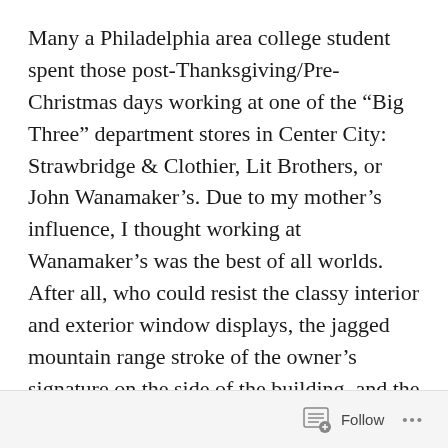Many a Philadelphia area college student spent those post-Thanksgiving/Pre-Christmas days working at one of the “Big Three” department stores in Center City: Strawbridge & Clothier, Lit Brothers, or John Wanamaker’s. Due to my mother’s influence, I thought working at Wanamaker’s was the best of all worlds. After all, who could resist the classy interior and exterior window displays, the jagged mountain range stroke of the owner’s signature on the side of the building, and the transportation proximity?
Follow ...